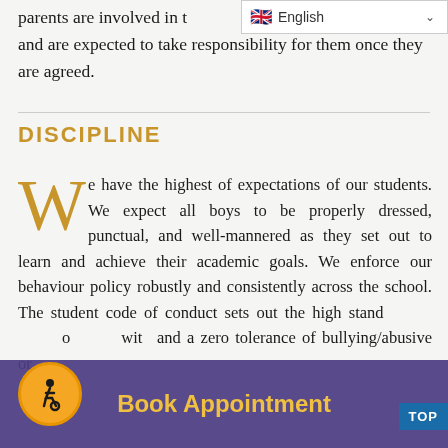[Figure (screenshot): Language selector overlay showing UK flag and 'English' text with dropdown arrow]
parents are involved in the process of setting the targets and are expected to take responsibility for them once they are agreed.
DISCIPLINE
We have the highest of expectations of our students. We expect all boys to be properly dressed, punctual, and well-mannered as they set out to learn and achieve their academic goals. We enforce our behaviour policy robustly and consistently across the school. The student code of conduct sets out the high standards of behaviour that we expect with and a zero tolerance of bullying/abusive or
[Figure (infographic): Book Appointment button overlay bar in purple/indigo color with gold text]
[Figure (logo): Accessibility wheelchair icon in orange circle]
[Figure (screenshot): Blue TOP button in bottom right corner]